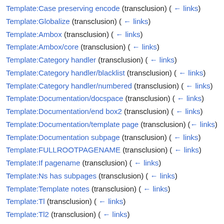Template:Case preserving encode (transclusion) (← links)
Template:Globalize (transclusion) (← links)
Template:Ambox (transclusion) (← links)
Template:Ambox/core (transclusion) (← links)
Template:Category handler (transclusion) (← links)
Template:Category handler/blacklist (transclusion) (← links)
Template:Category handler/numbered (transclusion) (← links)
Template:Documentation/docspace (transclusion) (← links)
Template:Documentation/end box2 (transclusion) (← links)
Template:Documentation/template page (transclusion) (← links)
Template:Documentation subpage (transclusion) (← links)
Template:FULLROOTPAGENAME (transclusion) (← links)
Template:If pagename (transclusion) (← links)
Template:Ns has subpages (transclusion) (← links)
Template:Template notes (transclusion) (← links)
Template:Tl (transclusion) (← links)
Template:Tl2 (transclusion) (← links)
Template:Twinkle standard installation (transclusion) (← links)